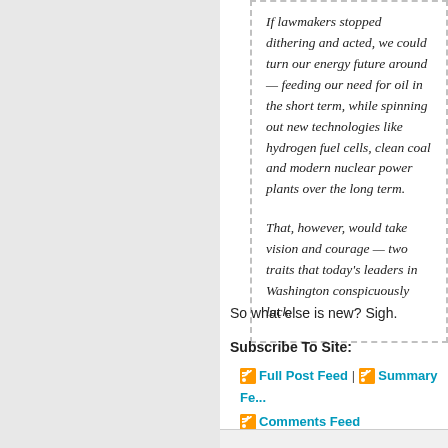If lawmakers stopped dithering and acted, we could turn our energy future around — feeding our need for oil in the short term, while spinning out new technologies like hydrogen fuel cells, clean coal and modern nuclear power plants over the long term.

That, however, would take vision and courage — two traits that today's leaders in Washington conspicuously lack.
So what else is new? Sigh.
Subscribe To Site:
Full Post Feed | Summary Fe... Comments Feed